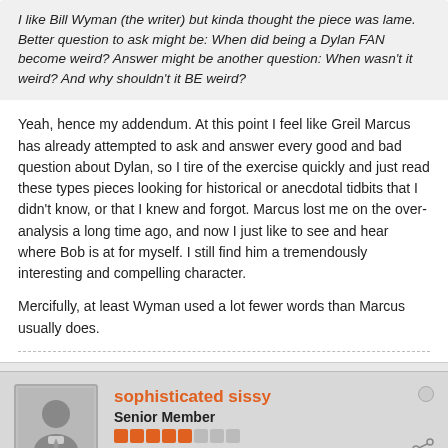I like Bill Wyman (the writer) but kinda thought the piece was lame. Better question to ask might be: When did being a Dylan FAN become weird? Answer might be another question: When wasn't it weird? And why shouldn't it BE weird?
Yeah, hence my addendum. At this point I feel like Greil Marcus has already attempted to ask and answer every good and bad question about Dylan, so I tire of the exercise quickly and just read these types pieces looking for historical or anecdotal tidbits that I didn't know, or that I knew and forgot. Marcus lost me on the over-analysis a long time ago, and now I just like to see and hear where Bob is at for myself. I still find him a tremendously interesting and compelling character.

Mercifully, at least Wyman used a lot fewer words than Marcus usually does.
sophisticated sissy
Senior Member
Join Date: Jan 2007   Posts: 7453
08-05-2014, 04:45 PM
#14